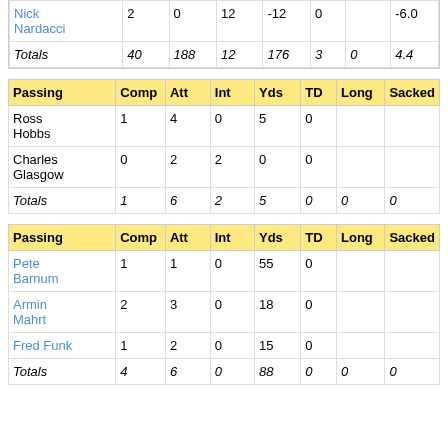| Nick Nardacci | 2 | 0 | 12 | -12 | 0 |  | -6.0 |
| Totals | 40 | 188 | 12 | 176 | 3 | 0 | 4.4 |
| Passing | Comp | Att | Int | Yds | TD | Long | Sacked |
| --- | --- | --- | --- | --- | --- | --- | --- |
| Ross Hobbs | 1 | 4 | 0 | 5 | 0 |  |  |
| Charles Glasgow | 0 | 2 | 2 | 0 | 0 |  |  |
| Totals | 1 | 6 | 2 | 5 | 0 | 0 | 0 |
| Passing | Comp | Att | Int | Yds | TD | Long | Sacked |
| --- | --- | --- | --- | --- | --- | --- | --- |
| Pete Barnum | 1 | 1 | 0 | 55 | 0 |  |  |
| Armin Mahrt | 2 | 3 | 0 | 18 | 0 |  |  |
| Fred Funk | 1 | 2 | 0 | 15 | 0 |  |  |
| Totals | 4 | 6 | 0 | 88 | 0 | 0 | 0 |